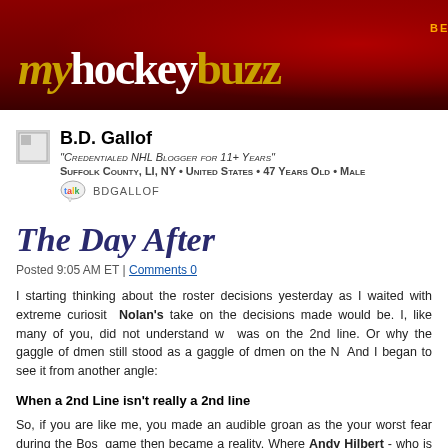myhockeybuzz BETA
B.D. Gallof
"Credentialed NHL Blogger for 11+ Years"
Suffolk County, LI, NY • United States • 47 Years Old • Male
BDGALLOF
The Day After
Posted 9:05 AM ET | Comments 0
I starting thinking about the roster decisions yesterday as I waited with extreme curiosity what Nolan's take on the decisions made would be. I, like many of you, did not understand why [player] was on the 2nd line. Or why the gaggle of dmen still stood as a gaggle of dmen on the N... And I began to see it from another angle:
When a 2nd Line isn't really a 2nd line
So, if you are like me, you made an audible groan as the your worst fear during the Bos... game then became a reality. Where Andy Hilbert - who is NOT a bad player, was going... role on the 2nd line. Hilbert is an aggressive two-way forward who, despite not scoring... Pittsburgh numbers would indicate back two seasons ago - has done everything Nolan a...